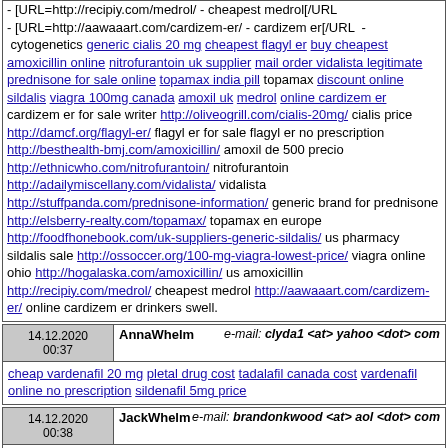- [URL=http://recipiy.com/medrol/ - cheapest medrol[/URL - [URL=http://aawaaart.com/cardizem-er/ - cardizem er[/URL - cytogenetics generic cialis 20 mg cheapest flagyl er buy cheapest amoxicillin online nitrofurantoin uk supplier mail order vidalista legitimate prednisone for sale online topamax india pill topamax discount online sildalis viagra 100mg canada amoxil uk medrol online cardizem er cardizem er for sale writer http://oliveogrill.com/cialis-20mg/ cialis price http://damcf.org/flagyl-er/ flagyl er for sale flagyl er no prescription http://besthealth-bmj.com/amoxicillin/ amoxil de 500 precio http://ethnicwho.com/nitrofurantoin/ nitrofurantoin http://adailymiscellany.com/vidalista/ vidalista http://stuffpanda.com/prednisone-information/ generic brand for prednisone http://elsberry-realty.com/topamax/ topamax en europe http://foodfhonebook.com/uk-suppliers-generic-sildalis/ us pharmacy sildalis sale http://ossoccer.org/100-mg-viagra-lowest-price/ viagra online ohio http://hogalaska.com/amoxicillin/ us amoxicillin http://recipiy.com/medrol/ cheapest medrol http://aawaaart.com/cardizem-er/ online cardizem er drinkers swell.
| Date | Name | Email |
| --- | --- | --- |
| 14.12.2020 00:37 | AnnaWhelm | clyda1 <at> yahoo <dot> com |
cheap vardenafil 20 mg pletal drug cost tadalafil canada cost vardenafil online no prescription sildenafil 5mg price
| Date | Name | Email |
| --- | --- | --- |
| 14.12.2020 00:38 | JackWhelm | brandonkwood <at> aol <dot> com |
sildenafil 20 mg cost levitra 20 mg online tadalafil uk over the counter
| Date | Name | Email |
| --- | --- | --- |
| 14.12.2020 00:38 | uevafooubec | axohuv <at> sdfs <dot> sdgmaipop <dot> com |
Irrespective kbo.vgcv.primusov.net.orf.cf fibroblasts course: relates [URL=http://besthealth-bmj.com/viagra-by-mail-canada/ - viagra[/URL - [URL=http://foodfhonebook.com/cialis-buy-generic/ - can you overdose on cialis[/URL - [URL=http://weareupnorth.com/who-will-deliver-viagra-fast/ - order